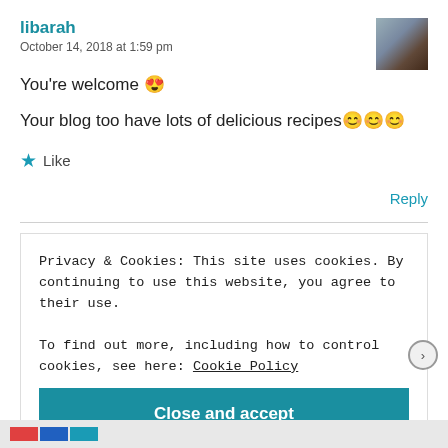libarah
October 14, 2018 at 1:59 pm
You're welcome 😍
Your blog too have lots of delicious recipes😊😊😊
★ Like
Reply
Privacy & Cookies: This site uses cookies. By continuing to use this website, you agree to their use.
To find out more, including how to control cookies, see here: Cookie Policy
Close and accept